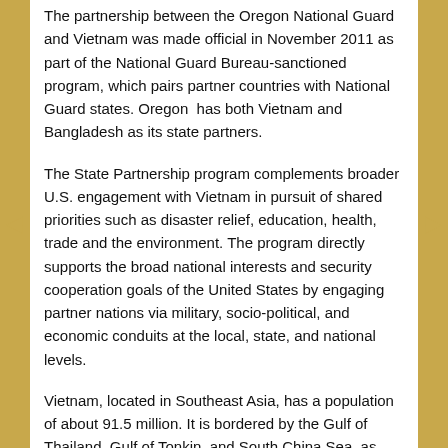The partnership between the Oregon National Guard and Vietnam was made official in November 2011 as part of the National Guard Bureau-sanctioned program, which pairs partner countries with National Guard states. Oregon has both Vietnam and Bangladesh as its state partners.
The State Partnership program complements broader U.S. engagement with Vietnam in pursuit of shared priorities such as disaster relief, education, health, trade and the environment. The program directly supports the broad national interests and security cooperation goals of the United States by engaging partner nations via military, socio-political, and economic conduits at the local, state, and national levels.
Vietnam, located in Southeast Asia, has a population of about 91.5 million. It is bordered by the Gulf of Thailand, Gulf of Tonkin, and South China Sea, as well as China, Laos and Cambodia.